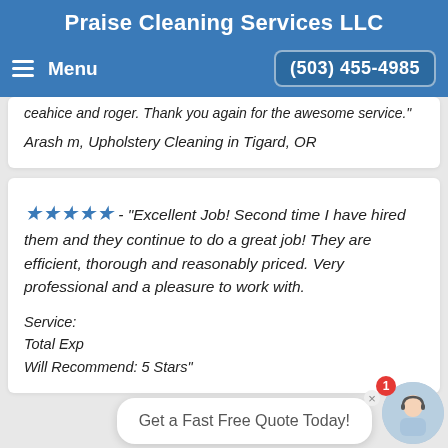Praise Cleaning Services LLC
Menu   (503) 455-4985
...ceahice and roger. Thank you again for the awesome service."
Arash m, Upholstery Cleaning in Tigard, OR
★★★★★ - "Excellent Job! Second time I have hired them and they continue to do a great job! They are efficient, thorough and reasonably priced. Very professional and a pleasure to work with.
Service:
Total Exp
Will Recommend: 5 Stars"
Get a Fast Free Quote Today!